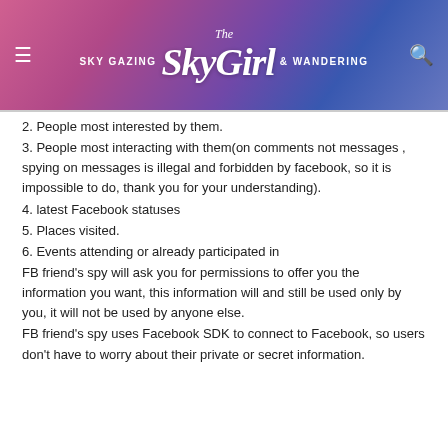[Figure (logo): The SkyGirl – Sky Gazing & Wandering blog logo banner with purple/pink sky gradient background]
2. People most interested by them.
3. People most interacting with them(on comments not messages , spying on messages is illegal and forbidden by facebook, so it is impossible to do, thank you for your understanding).
4. latest Facebook statuses
5. Places visited.
6. Events attending or already participated in
FB friend's spy will ask you for permissions to offer you the information you want, this information will and still be used only by you, it will not be used by anyone else.
FB friend's spy uses Facebook SDK to connect to Facebook, so users don't have to worry about their private or secret information.